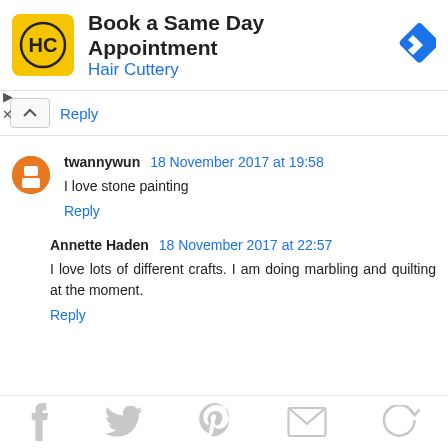[Figure (screenshot): Hair Cuttery ad banner with yellow logo, 'Book a Same Day Appointment' title, blue 'Hair Cuttery' subtitle, and blue diamond navigation arrow icon]
Reply
twannywun 18 November 2017 at 19:58
I love stone painting
Reply
Annette Haden 18 November 2017 at 22:57
I love lots of different crafts. I am doing marbling and quilting at the moment.
Reply
[Figure (infographic): Social sharing icons row: Facebook, Twitter, Pinterest, Email, Share]